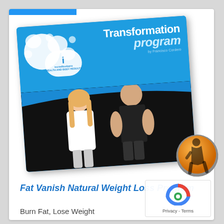[Figure (photo): Product image of 'Incredibodypro Transformation Program' book/guide cover showing two fitness models (a blonde woman in white t-shirt and a muscular man in black tank top) against a blue and black background, with an orange circular badge showing a silhouette of a fit figure. The book cover has 'Transformation program by Francisco Cordero' text.]
Fat Vanish Natural Weight Loss Program
Burn Fat, Lose Weight